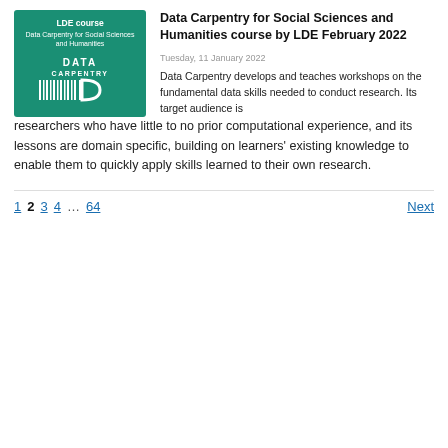[Figure (logo): Data Carpentry logo on green background with text 'LDE course Data Carpentry for Social Sciences and Humanities']
Data Carpentry for Social Sciences and Humanities course by LDE February 2022
Tuesday, 11 January 2022
Data Carpentry develops and teaches workshops on the fundamental data skills needed to conduct research. Its target audience is researchers who have little to no prior computational experience, and its lessons are domain specific, building on learners' existing knowledge to enable them to quickly apply skills learned to their own research.
1  2  3  4  …  64  Next